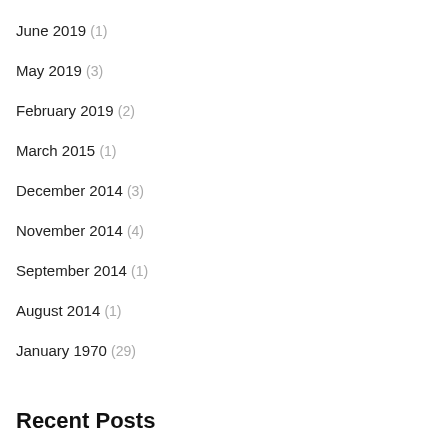June 2019 (1)
May 2019 (3)
February 2019 (2)
March 2015 (1)
December 2014 (3)
November 2014 (4)
September 2014 (1)
August 2014 (1)
January 1970 (29)
Recent Posts